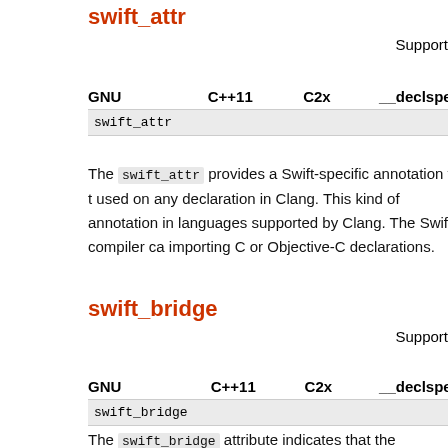swift_attr
Support
| GNU | C++11 | C2x | __declspec |
| --- | --- | --- | --- |
| swift_attr |  |  |  |
The swift_attr provides a Swift-specific annotation for t… used on any declaration in Clang. This kind of annotation… in languages supported by Clang. The Swift compiler ca… importing C or Objective-C declarations.
swift_bridge
Support
| GNU | C++11 | C2x | __declspec |
| --- | --- | --- | --- |
| swift_bridge |  |  |  |
The swift_bridge attribute indicates that the declaration t…